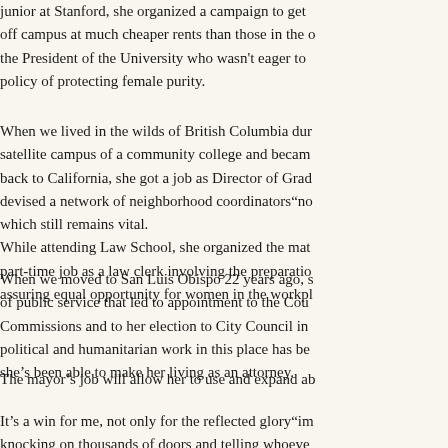junior at Stanford, she organized a campaign to get off campus at much cheaper rents than those in the the President of the University who wasn't eager to policy of protecting female purity.
When we lived in the wilds of British Columbia du satellite campus of a community college and becam back to California, she got a job as Director of Grad devised a network of neighborhood coordinators“no which still remains vital.
While attending Law School, she organized the mat part-time job as a law clerk involving the preparatio assuring equal opportunity for women in the workpl
When we moved to San Luis Obispo 22 years ago, s of public service that led to appointment to the Cou Commissions and to her election to City Council in political and humanitarian work in this place has be she’s been able to make her living as an attorney.
The mayor’s job will allow her to use and expand ab
It’s a win for me, not only for the reflected glory“im knocking on thousands of doors and telling whoeve